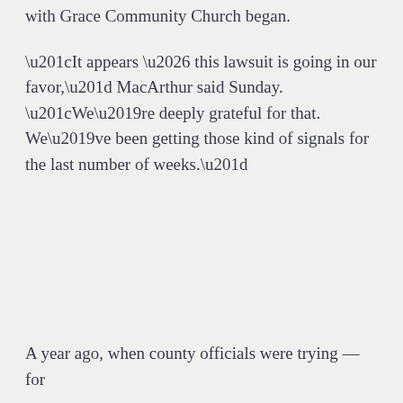with Grace Community Church began.
“It appears … this lawsuit is going in our favor,” MacArthur said Sunday. “We’re deeply grateful for that. We’ve been getting those kind of signals for the last number of weeks.”
A year ago, when county officials were trying — for